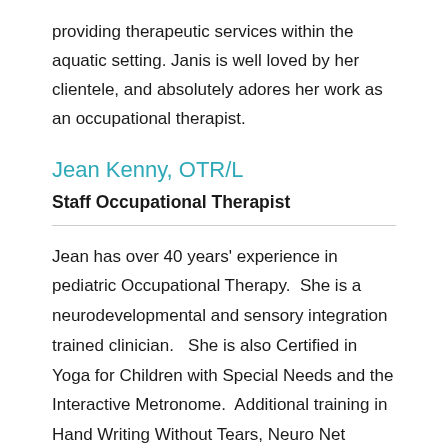providing therapeutic services within the aquatic setting. Janis is well loved by her clientele, and absolutely adores her work as an occupational therapist.
Jean Kenny, OTR/L
Staff Occupational Therapist
Jean has over 40 years' experience in pediatric Occupational Therapy.  She is a neurodevelopmental and sensory integration trained clinician.   She is also Certified in Yoga for Children with Special Needs and the Interactive Metronome.  Additional training in Hand Writing Without Tears, Neuro Net Treatment, Mobilization and Myofascial Release for Cerebral Palsy and Neurologically Involved Children, Astronaut